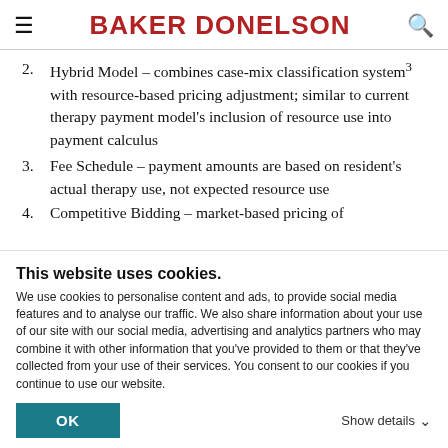BAKER DONELSON
2. Hybrid Model – combines case-mix classification system³ with resource-based pricing adjustment; similar to current therapy payment model's inclusion of resource use into payment calculus
3. Fee Schedule – payment amounts are based on resident's actual therapy use, not expected resource use
4. Competitive Bidding – market-based pricing of
This website uses cookies.
We use cookies to personalise content and ads, to provide social media features and to analyse our traffic. We also share information about your use of our site with our social media, advertising and analytics partners who may combine it with other information that you've provided to them or that they've collected from your use of their services. You consent to our cookies if you continue to use our website.